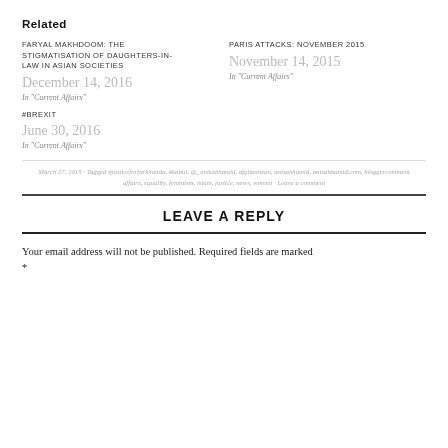Related
FARYAL MAKHDOOM: THE STIGMATISATION OF DAUGHTERS-IN-LAW IN ASIAN SOCIETIES
December 14, 2016
In "Current Affairs"
PARIS ATTACKS: NOVEMBER 2015
November 14, 2015
In "Current Affairs"
#BREXIT
June 30, 2016
In "Current Affairs"
March 27, 2015 · Tagged #justiceforfarkhunda, #kabul, @_anisahhamid, afghanistan, anisahhamid, anisahhamid.com, bloggercomment affairs, equality, feminism, islam, justice, news, women · Leave a comment
LEAVE A REPLY
Your email address will not be published. Required fields are marked *